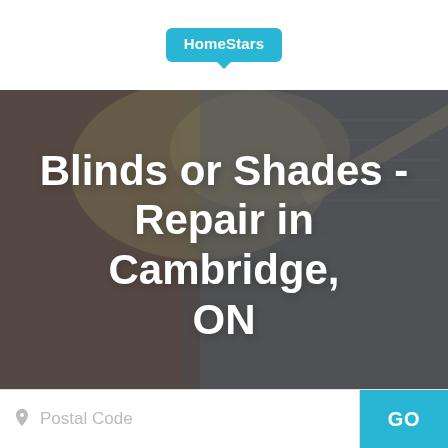[Figure (logo): HomeStars logo — cyan rounded speech-bubble badge with white bold text 'HomeStars']
[Figure (photo): Background hero photo of work gloves, blueprints/plans on a surface, darkened with overlay]
Blinds or Shades - Repair in Cambridge, ON
Postal Code
GO